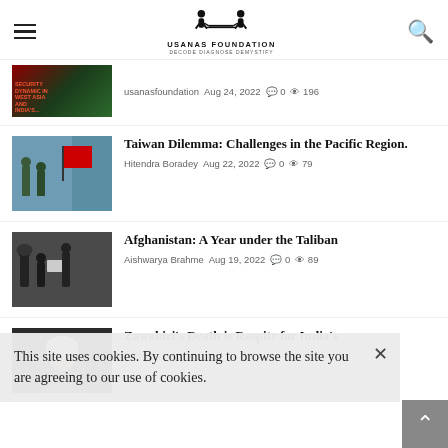USANAS FOUNDATION — DECODE DIAGNOSE DEMYSTIFY
usanasfoundation  Aug 24, 2022  0  196
Taiwan Dilemma: Challenges in the Pacific Region. — Hitendra Boradey  Aug 22, 2022  0  79
Afghanistan: A Year under the Taliban — Aishwarya Brahme  Aug 19, 2022  0  89
Zawahiri's Death is Respite for India's Intel Fraternity,...
This site uses cookies. By continuing to browse the site you are agreeing to our use of cookies.